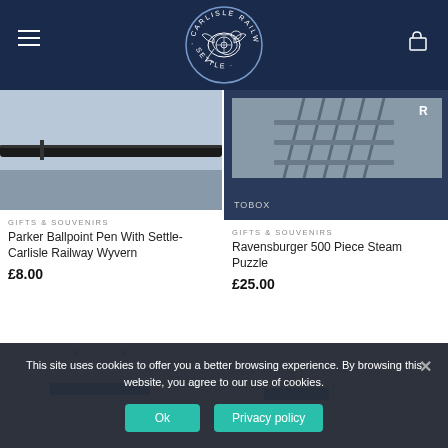Settle-Carlisle Railway
[Figure (logo): Settle-Carlisle Railway circular logo with wyvern/dragon emblem on dark navy background]
[Figure (photo): Parker Ballpoint Pen product photo showing a pen on a surface]
GIFTS & SOUVENIRS
Parker Ballpoint Pen With Settle-Carlisle Railway Wyvern
£8.00
[Figure (photo): Ravensburger 500 Piece Steam Puzzle box showing a railway photo, navy blue box with tobox label]
GIFTS & SOUVENIRS
Ravensburger 500 Piece Steam Puzzle
£25.00
[Figure (photo): Bottom left product thumbnail - poster style gift item with heart/wishlist button]
[Figure (photo): Bottom right product thumbnail - postcard/card style gift item with heart/wishlist button]
This site uses cookies to offer you a better browsing experience. By browsing this website, you agree to our use of cookies.
Ok
Privacy policy